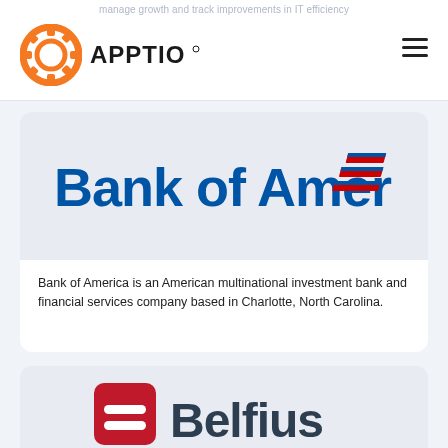manage growth and track improvements in IT efficiency
[Figure (logo): Apptio logo with orange gear icon and APPTIO text in dark]
[Figure (logo): Bank of America logo with blue text and red/blue flag symbol]
Bank of America is an American multinational investment bank and financial services company based in Charlotte, North Carolina.
[Figure (logo): Belfius logo with dark red square icon with white lines and dark blue Belfius text]